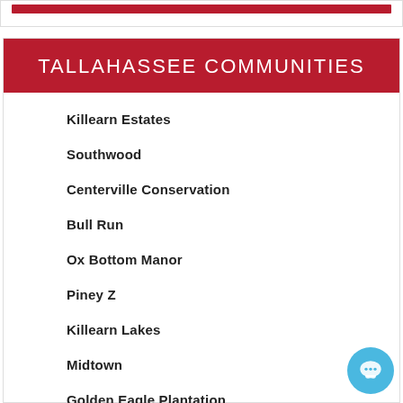TALLAHASSEE COMMUNITIES
Killearn Estates
Southwood
Centerville Conservation
Bull Run
Ox Bottom Manor
Piney Z
Killearn Lakes
Midtown
Golden Eagle Plantation